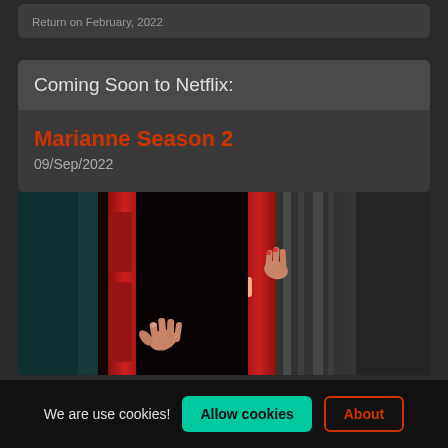Return on February, 2022
Coming Soon to Netflix:
Marianne Season 2
09/Sep/2022
[Figure (photo): Horror-themed promotional image showing hands gripping a red door frame in a dark setting]
We are use cookies! Allow cookies About